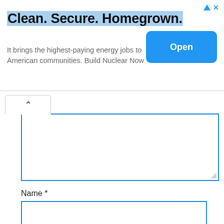[Figure (screenshot): Advertisement banner: 'Clean. Secure. Homegrown.' with subtitle 'It brings the highest-paying energy jobs to American communities. Build Nuclear Now' and a blue 'Open' button.]
[Figure (screenshot): Web form with a collapsed textarea (showing collapse toggle tab), followed by Name * label, Name input box, Email * label, Email input box, and Website label.]